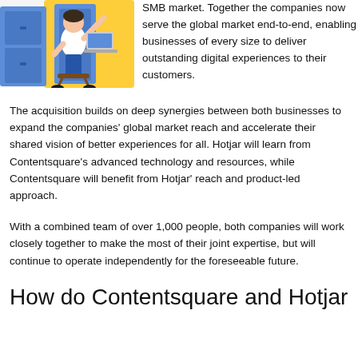[Figure (illustration): Illustration of a person sitting on a stool using a laptop, with blue locker-style background and yellow accent shapes]
SMB market. Together the companies now serve the global market end-to-end, enabling businesses of every size to deliver outstanding digital experiences to their customers.
The acquisition builds on deep synergies between both businesses to expand the companies' global market reach and accelerate their shared vision of better experiences for all. Hotjar will learn from Contentsquare's advanced technology and resources, while Contentsquare will benefit from Hotjar' reach and product-led approach.
With a combined team of over 1,000 people, both companies will work closely together to make the most of their joint expertise, but will continue to operate independently for the foreseeable future.
How do Contentsquare and Hotjar